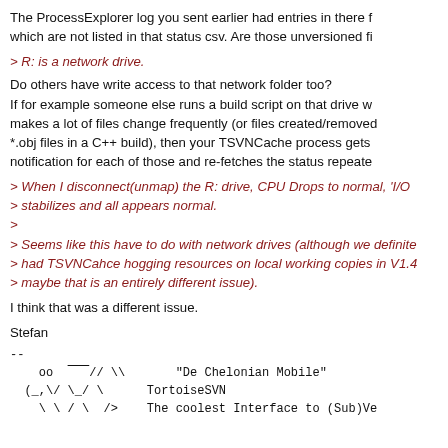The ProcessExplorer log you sent earlier had entries in there for files which are not listed in that status csv. Are those unversioned fi
> R: is a network drive.
Do others have write access to that network folder too? If for example someone else runs a build script on that drive w makes a lot of files change frequently (or files created/removed *.obj files in a C++ build), then your TSVNCache process gets notification for each of those and re-fetches the status repeate
> When I disconnect(unmap) the R: drive, CPU Drops to normal, 'I/O stabilizes and all appears normal.
>
> Seems like this have to do with network drives (although we definite > had TSVNCahce hogging resources on local working copies in V1.4 > maybe that is an entirely different issue).
I think that was a different issue.
Stefan
--
oo  // \      "De Chelonian Mobile"
  (_,\/ \_/ \      TortoiseSVN
    \ \ / \  />     The coolest Interface to (Sub)Ve